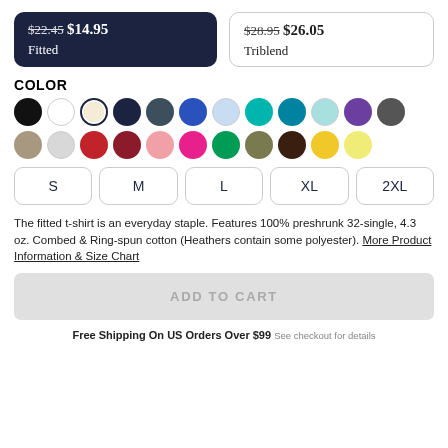$22.45 $14.95 Fitted (selected/active)
$28.95 $26.05 Triblend
COLOR
[Figure (infographic): Color swatches: black, white, cream (selected/outlined), navy, dark grey, royal blue, light blue, teal, dark teal, pale blue/mint, purple, dark grey, tan/khaki, light grey, red, dark red/maroon, pink, hot pink, green, olive/khaki, dark brown, gold/yellow, light yellow]
S  M  L  XL  2XL (size selector buttons)
The fitted t-shirt is an everyday staple. Features 100% preshrunk 32-single, 4.3 oz. Combed & Ring-spun cotton (Heathers contain some polyester). More Product Information & Size Chart
ADD TO CART
Free Shipping On US Orders Over $99 See checkout for details